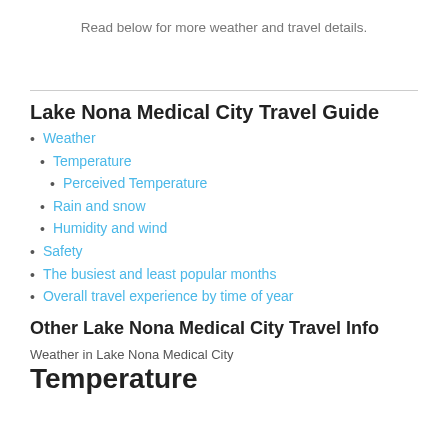Read below for more weather and travel details.
Lake Nona Medical City Travel Guide
Weather
Temperature
Perceived Temperature
Rain and snow
Humidity and wind
Safety
The busiest and least popular months
Overall travel experience by time of year
Other Lake Nona Medical City Travel Info
Weather in Lake Nona Medical City
Temperature